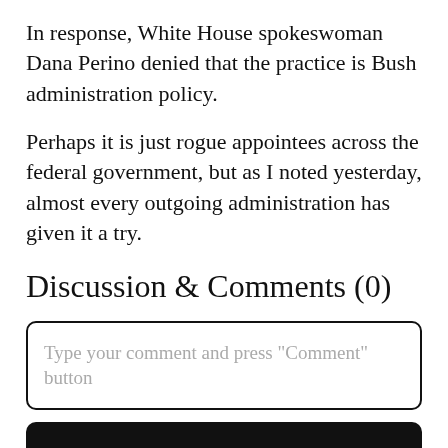In response, White House spokeswoman Dana Perino denied that the practice is Bush administration policy.
Perhaps it is just rogue appointees across the federal government, but as I noted yesterday, almost every outgoing administration has given it a try.
Discussion & Comments (0)
Type your comment and press "Comment" button
COMMENT
Recent Articles